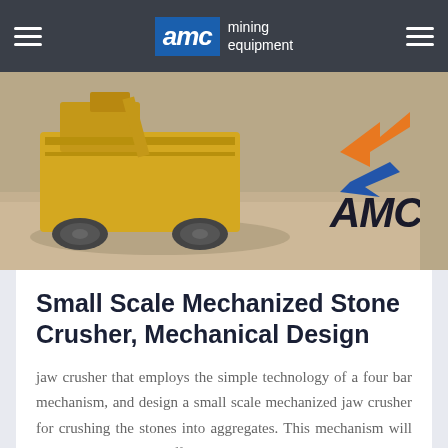AMC mining equipment
[Figure (photo): Yellow mining/crushing machinery (jaw crusher) on a construction site with sand/gravel ground. AMC logo watermark visible in lower right corner of image.]
Small Scale Mechanized Stone Crusher, Mechanical Design
jaw crusher that employs the simple technology of a four bar mechanism, and design a small scale mechanized jaw crusher for crushing the stones into aggregates. This mechanism will help to evaluate its effectiveness in comparison with other different types of mechanisms in use... especially the double toggle and the modified